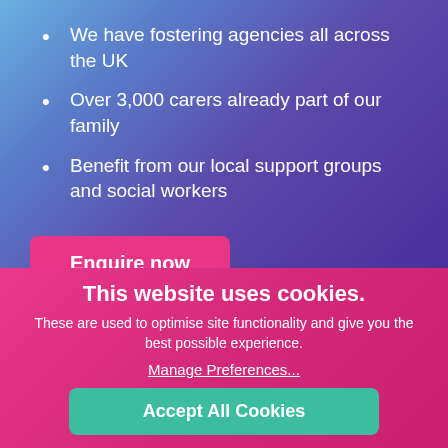We have fostering agencies all across the UK
Over 3,000 carers already part of our family
Benefit from our local support groups and social workers
Enquire now
This website uses cookies.
These are used to optimise site functionality and give you the best possible experience.
Manage Preferences...
Accept All Cookies